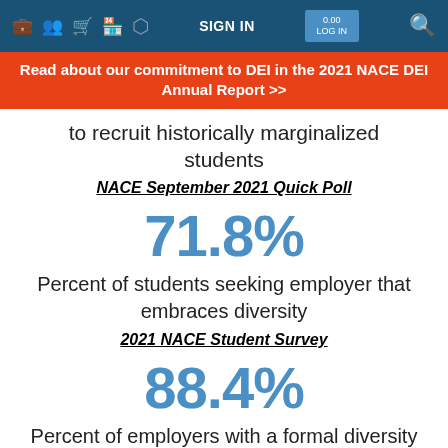SIGN IN
Read about our commitment to DEI in the 2021 NACE DEI Annual Report >>
to recruit historically marginalized students
NACE September 2021 Quick Poll
71.8%
Percent of students seeking employer that embraces diversity
2021 NACE Student Survey
88.4%
Percent of employers with a formal diversity